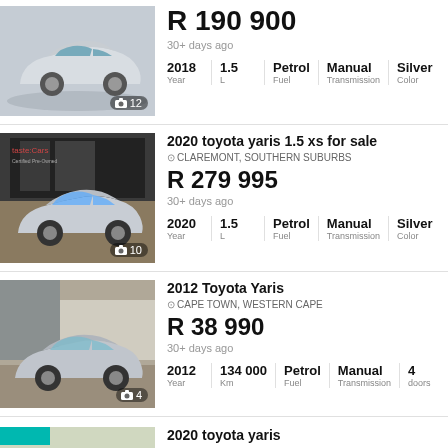[Figure (photo): Silver Toyota Yaris sedan, side-front angle, light background, 12 photos]
R 190 900
30+ days ago
| 2018 | 1.5 | Petrol | Manual | Silver |
| --- | --- | --- | --- | --- |
| Year | L | Fuel | Transmission | Color |
2020 toyota yaris 1.5 xs for sale
CLAREMONT, SOUTHERN SUBURBS
[Figure (photo): Silver Toyota Yaris at TasteCars dealership, 10 photos]
R 279 995
30+ days ago
| 2020 | 1.5 | Petrol | Manual | Silver |
| --- | --- | --- | --- | --- |
| Year | L | Fuel | Transmission | Color |
2012 Toyota Yaris
CAPE TOWN, WESTERN CAPE
[Figure (photo): Silver Toyota Yaris sedan on paving, 4 photos]
R 38 990
30+ days ago
| 2012 | 134 000 | Petrol | Manual | 4 |
| --- | --- | --- | --- | --- |
| Year | Km | Fuel | Transmission | doors |
2020 toyota yaris